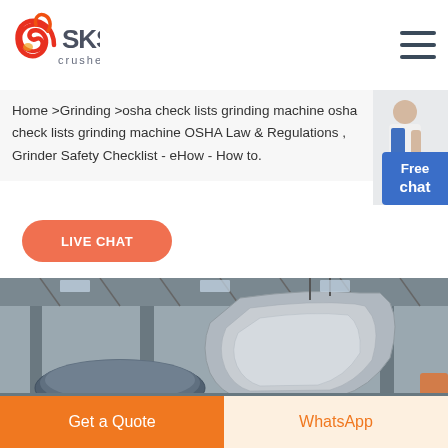[Figure (logo): SKS crusher expert logo with red/orange swirl graphic and dark gray SKS text and 'crusher expert' tagline]
Home >Grinding >osha check lists grinding machine osha check lists grinding machine OSHA Law & Regulations , Grinder Safety Checklist - eHow - How to.
[Figure (photo): Free chat button with person image on right side]
[Figure (photo): LIVE CHAT orange rounded button]
[Figure (photo): Factory interior with industrial crusher machinery components, large metal parts suspended in warehouse]
Get a Quote
WhatsApp